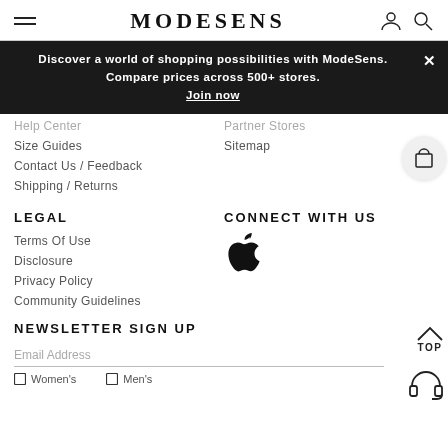MODESENS
Discover a world of shopping possibilities with ModeSens. Compare prices across 500+ stores. Join now
Help Center
Partner Stores
Size Guides
Sitemap
Contact Us / Feedback
Shipping / Returns
LEGAL
CONNECT WITH US
Terms Of Use
[Figure (logo): Apple logo icon]
Disclosure
Privacy Policy
Community Guidelines
NEWSLETTER SIGN UP
Email Address
Women's    Men's